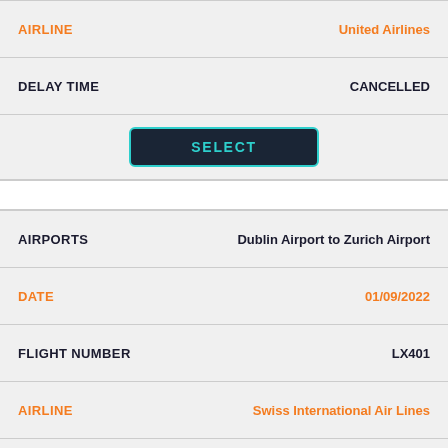| Field | Value |
| --- | --- |
| AIRLINE | United Airlines |
| DELAY TIME | CANCELLED |
SELECT (button)
| Field | Value |
| --- | --- |
| AIRPORTS | Dublin Airport to Zurich Airport |
| DATE | 01/09/2022 |
| FLIGHT NUMBER | LX401 |
| AIRLINE | Swiss International Air Lines |
| DELAY TIME | DELAYED |
SELECT (button)